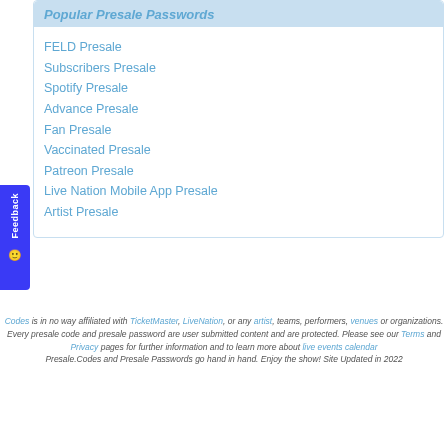Popular Presale Passwords
FELD Presale
Subscribers Presale
Spotify Presale
Advance Presale
Fan Presale
Vaccinated Presale
Patreon Presale
Live Nation Mobile App Presale
Artist Presale
Codes is in no way affiliated with TicketMaster, LiveNation, or any artist, teams, performers, venues or organizations. Every presale code and presale password are user submitted content and are protected. Please see our Terms and Privacy pages for further information and to learn more about live events calendar. Presale.Codes and Presale Passwords go hand in hand. Enjoy the show! Site Updated in 2022